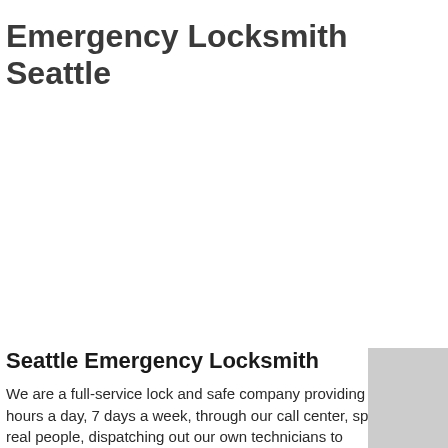Emergency Locksmith Seattle
Seattle Emergency Locksmith
We are a full-service lock and safe company providing service 24 hours a day, 7 days a week, through our call center, speaking to real people, dispatching out our own technicians to